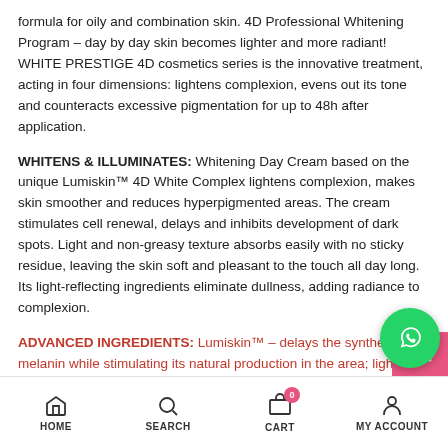formula for oily and combination skin. 4D Professional Whitening Program – day by day skin becomes lighter and more radiant! WHITE PRESTIGE 4D cosmetics series is the innovative treatment, acting in four dimensions: lightens complexion, evens out its tone and counteracts excessive pigmentation for up to 48h after application.
WHITENS & ILLUMINATES: Whitening Day Cream based on the unique Lumiskin™ 4D White Complex lightens complexion, makes skin smoother and reduces hyperpigmented areas. The cream stimulates cell renewal, delays and inhibits development of dark spots. Light and non-greasy texture absorbs easily with no sticky residue, leaving the skin soft and pleasant to the touch all day long. Its light-reflecting ingredients eliminate dullness, adding radiance to complexion.
ADVANCED INGREDIENTS: Lumiskin™ – delays the synthesis of melanin while stimulating its natural production in the area; lightens complexion. Hyaluronic acid – binds more water to skin...
HOME  SEARCH  CART 0  MY ACCOUNT